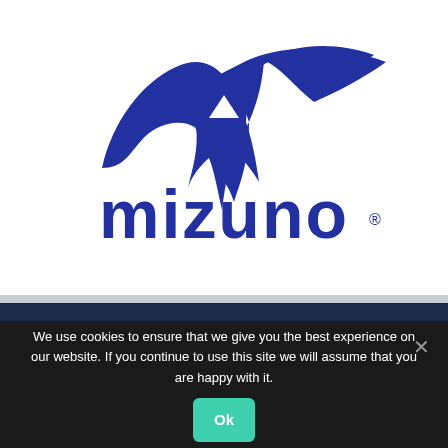[Figure (logo): Mizuno logo: blue stylized running bird/lightning bolt mark above the word MIZUNO in bold blue letters with registered trademark symbol]
We use cookies to ensure that we give you the best experience on our website. If you continue to use this site we will assume that you are happy with it.
Ok